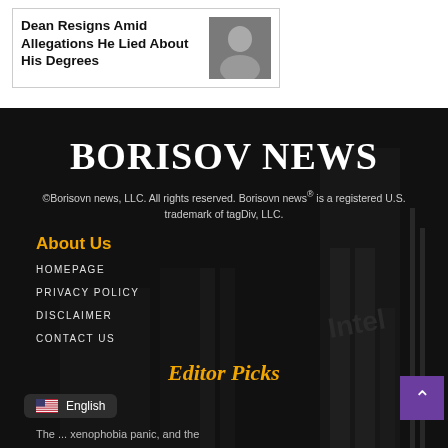Dean Resigns Amid Allegations He Lied About His Degrees
BORISOV NEWS
©Borisovn news, LLC. All rights reserved. Borisovn news® is a registered U.S. trademark of tagDiv, LLC.
About Us
HOMEPAGE
PRIVACY POLICY
DISCLAIMER
CONTACT US
Editor Picks
The ... xenophobia panic, and the